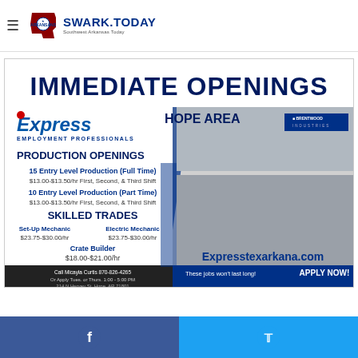SWARK.TODAY — Southwest Arkansas Today
[Figure (infographic): Employment advertisement for Express Employment Professionals, Hope Area, at Brentwood Industries. Immediate Openings. Production Openings: 15 Entry Level Production (Full Time) $13.00-$13.50/hr First, Second, & Third Shift; 10 Entry Level Production (Part Time) $13.00-$13.50/hr First, Second, & Third Shift. Skilled Trades: Set-Up Mechanic $23.75-$30.00/hr; Electric Mechanic $23.75-$30.00/hr; Crate Builder $18.00-$21.00/hr. Call Micayla Curtis 870-826-4265 Or Apply Tues. or Thurs. 1:00-5:00 PM, 214 N Hervey St, Hope, AR 71801. These jobs won't last long! APPLY NOW! Expresstexarkana.com]
Facebook | Twitter